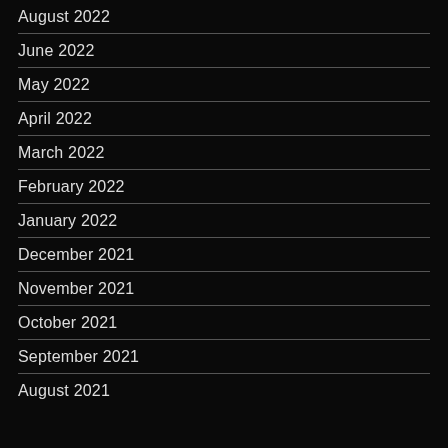August 2022
June 2022
May 2022
April 2022
March 2022
February 2022
January 2022
December 2021
November 2021
October 2021
September 2021
August 2021